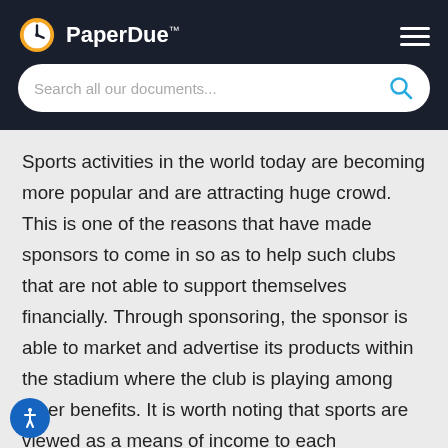PaperDue™
Sports activities in the world today are becoming more popular and are attracting huge crowd. This is one of the reasons that have made sponsors to come in so as to help such clubs that are not able to support themselves financially. Through sponsoring, the sponsor is able to market and advertise its products within the stadium where the club is playing among other benefits. It is worth noting that sports are viewed as a means of income to each stakeholder including the players. Essendon football club has made Australia to be known worldwide because of the number of sponsors the club has...